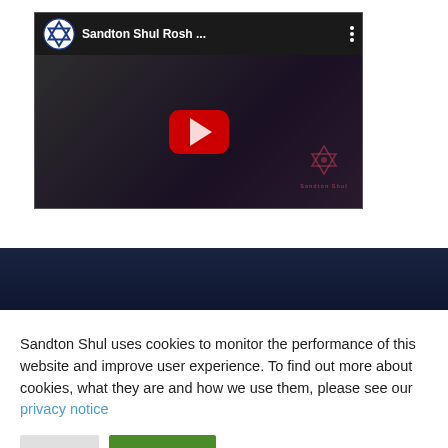[Figure (screenshot): YouTube video thumbnail for 'Sandton Shul Rosh ...' with a Star of David icon, dark video frame showing building interior, red YouTube play button, and Sandton Shul watermark logo in bottom-right corner.]
Sandton Shul uses cookies to monitor the performance of this website and improve user experience. To find out more about cookies, what they are and how we use them, please see our privacy notice
Decline
Accept All